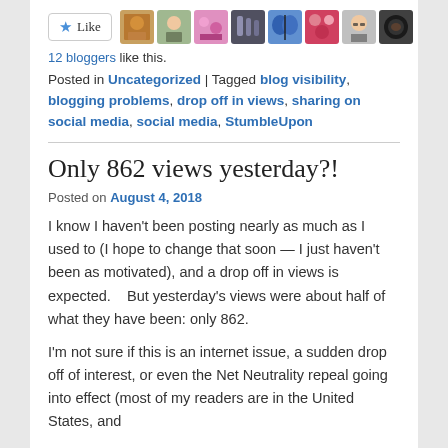[Figure (other): Like button with star icon and row of 8 blogger avatar thumbnails]
12 bloggers like this.
Posted in Uncategorized | Tagged blog visibility, blogging problems, drop off in views, sharing on social media, social media, StumbleUpon
Only 862 views yesterday?!
Posted on August 4, 2018
I know I haven't been posting nearly as much as I used to (I hope to change that soon — I just haven't been as motivated), and a drop off in views is expected.    But yesterday's views were about half of what they have been: only 862.
I'm not sure if this is an internet issue, a sudden drop off of interest, or even the Net Neutrality repeal going into effect (most of my readers are in the United States, and